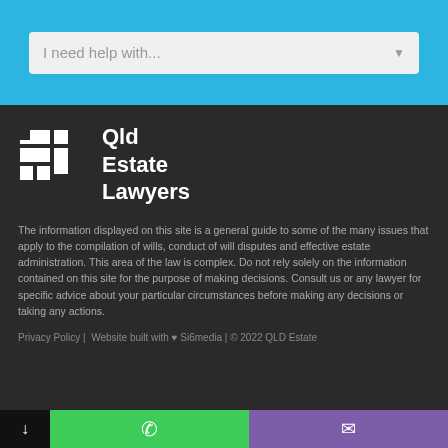I need help with...
[Figure (logo): Qld Estate Lawyers logo — white geometric squares/rectangles icon with text 'Qld Estate Lawyers' on dark background]
The information displayed on this site is a general guide to some of the many issues that apply to the compilation of wills, conduct of will disputes and effective estate administration. This area of the law is complex. Do not rely solely on the information contained on this site for the purpose of making decisions. Consult us or any lawyer for specific advice about your particular circumstances before making any decisions or taking any actions.
Privacy Policy | Website built with ♥ Si6media | © 2022 QLD Estate Lawyers. All rights reserved.